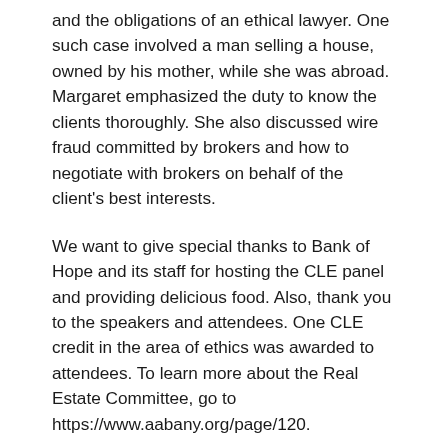and the obligations of an ethical lawyer. One such case involved a man selling a house, owned by his mother, while she was abroad. Margaret emphasized the duty to know the clients thoroughly. She also discussed wire fraud committed by brokers and how to negotiate with brokers on behalf of the client's best interests.
We want to give special thanks to Bank of Hope and its staff for hosting the CLE panel and providing delicious food. Also, thank you to the speakers and attendees. One CLE credit in the area of ethics was awarded to attendees. To learn more about the Real Estate Committee, go to https://www.aabany.org/page/120.